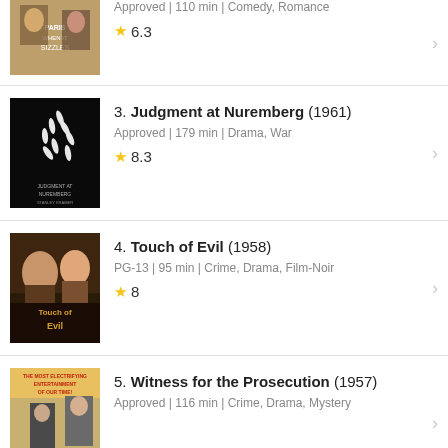Approved | 110 min | Comedy, Romance
★ 6.3
3. Judgment at Nuremberg (1961)
Approved | 179 min | Drama, War
★ 8.3
4. Touch of Evil (1958)
PG-13 | 95 min | Crime, Drama, Film-Noir
★ 8
5. Witness for the Prosecution (1957)
Approved | 116 min | Crime, Drama, Mystery